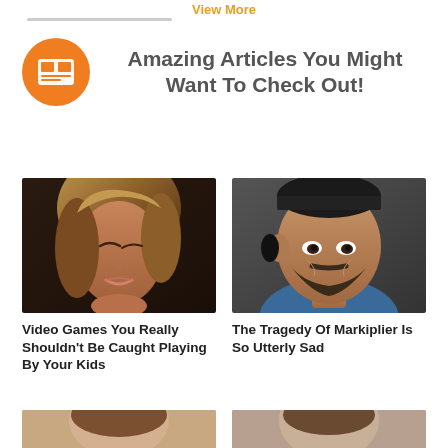View More
Amazing Articles You Might Want To Check Out!
[Figure (photo): 3D rendered female character with brown hair, eyes partially closed]
Video Games You Really Shouldn't Be Caught Playing By Your Kids
[Figure (photo): Close-up photo of a smiling man with headphones and beard]
The Tragedy Of Markiplier Is So Utterly Sad
[Figure (photo): Partial image of a person, bottom row left]
[Figure (photo): Partial image of a person, bottom row right]